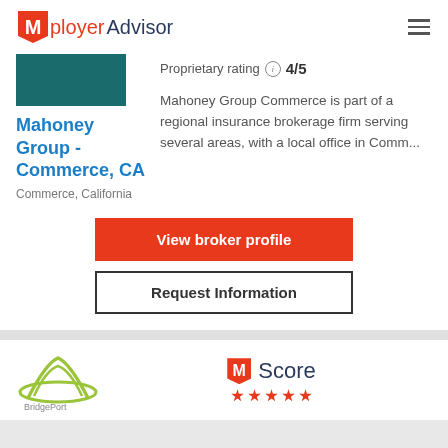Mployer Advisor
[Figure (logo): Teal/green colored rectangle logo placeholder for Mahoney Group]
Mahoney Group - Commerce, CA
Commerce, California
Proprietary rating 4/5
Mahoney Group Commerce is part of a regional insurance brokerage firm serving several areas, with a local office in Comm...
View broker profile
Request Information
[Figure (logo): BridgePort logo partially visible at bottom]
M Score